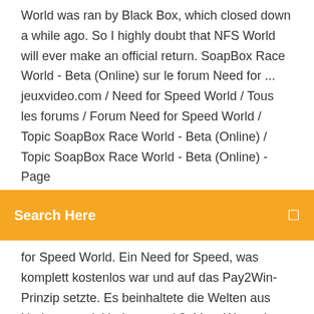World was ran by Black Box, which closed down a while ago. So I highly doubt that NFS World will ever make an official return. SoapBox Race World - Beta (Online) sur le forum Need for ... jeuxvideo.com / Need for Speed World / Tous les forums / Forum Need for Speed World / Topic SoapBox Race World - Beta (Online) / Topic SoapBox Race World - Beta (Online) - Page
[Figure (screenshot): Orange search bar with text 'Search Here' in white and a small search icon on the right]
for Speed World. Ein Need for Speed, was komplett kostenlos war und auf das Pay2Win-Prinzip setzte. Es beinhaltete die Welten aus Underground, Underground 2, Most Wanted (2005) und Carbon in einer großen Welt.
https://tiozdejcartio.cf/personalization/nfs-world-offline-setup.php
https://www.catarse.me/soapbox_race_world_brasil_5e04
http://www.jeuxvideo.com/forums/42-20190-53101583-1-0-1-0-soapbox-race-world-beta-online.htm